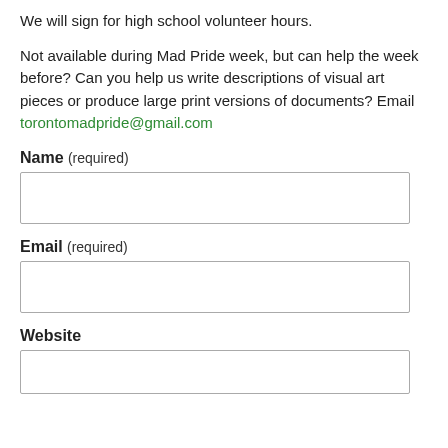We will sign for high school volunteer hours.
Not available during Mad Pride week, but can help the week before? Can you help us write descriptions of visual art pieces or produce large print versions of documents? Email torontomadpride@gmail.com
Name (required)
Email (required)
Website